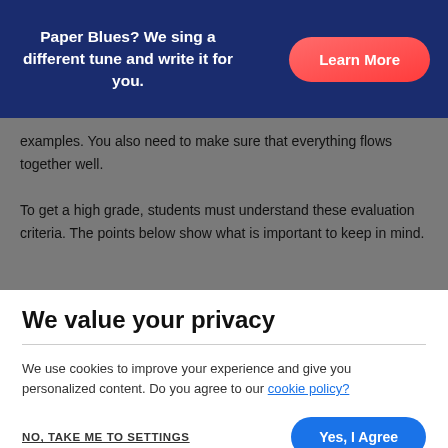Paper Blues? We sing a different tune and write it for you.
examples. You also need to make sure that everything flows together well.

To get a high grade, students must understand these evaluation criteria. The points below show what is important to keep in mind.
We value your privacy
We use cookies to improve your experience and give you personalized content. Do you agree to our cookie policy?
NO, TAKE ME TO SETTINGS
Yes, I Agree